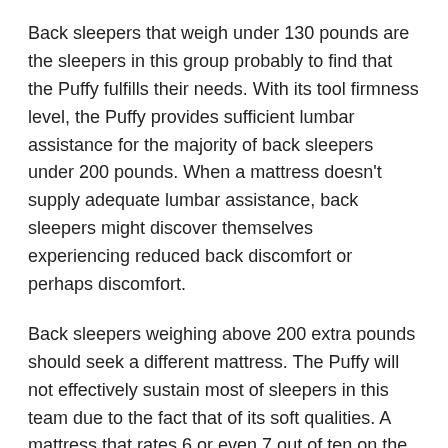Back sleepers that weigh under 130 pounds are the sleepers in this group probably to find that the Puffy fulfills their needs. With its tool firmness level, the Puffy provides sufficient lumbar assistance for the majority of back sleepers under 200 pounds. When a mattress doesn't supply adequate lumbar assistance, back sleepers might discover themselves experiencing reduced back discomfort or perhaps discomfort.
Back sleepers weighing above 200 extra pounds should seek a different mattress. The Puffy will not effectively sustain most of sleepers in this team due to the fact that of its soft qualities. A mattress that rates 6 or even 7 out of ten on the suppleness range would be better suited for much heavier back sleepers compared to the Puffy, which rates 5 out of 10.